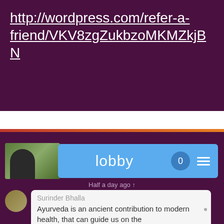http://wordpress.com/refer-a-friend/VKV8zgZukbzoMKMZkjBN
[Figure (screenshot): Mobile app lobby screen with blue header bar showing 'lobby' text, a badge with '0', and a hamburger menu icon. Below the bar shows 'Half a day ago' timestamp and a chat message from Surinder Bhalla about Ayurveda.]
Half a day ago ↑
Surinder Bhalla
Ayurveda is an ancient contribution to modern health, that can guide us on the